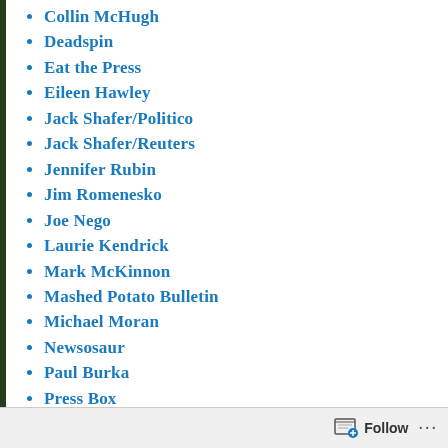Collin McHugh
Deadspin
Eat the Press
Eileen Hawley
Jack Shafer/Politico
Jack Shafer/Reuters
Jennifer Rubin
Jim Romenesko
Joe Nego
Laurie Kendrick
Mark McKinnon
Mashed Potato Bulletin
Michael Moran
Newsosaur
Paul Burka
Press Box
Roger Angell
Sean Breslin
Thatmrgguy
The Awl
The Bastard Machine
TV Barn
Uncle Barky
Follow ...